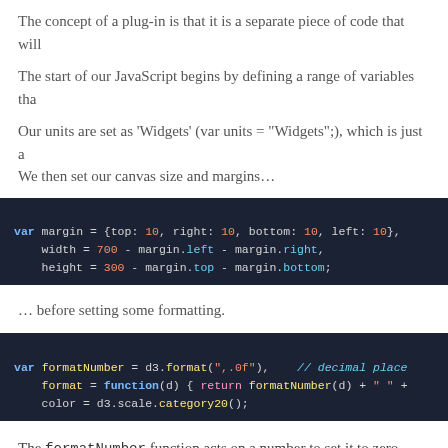The concept of a plug-in is that it is a separate piece of code that will
The start of our JavaScript begins by defining a range of variables tha
Our units are set as 'Widgets' (var units = "Widgets";), which is just a We then set our canvas size and margins…
var margin = {top: 10, right: 10, bottom: 10, left: 10},
    width = 700 - margin.left - margin.right,
    height = 300 - margin.top - margin.bottom;
… before setting some formatting.
var formatNumber = d3.format(",.0f"),    // decimal place
    format = function(d) { return formatNumber(d) + " "+
    color = d3.scale.category20();
The formatNumber function acts on a number to set it to zero decimal places in this case. In the original Mike Bostock example it was to three places, but for 'widgets' I'm presuming we don't divide :-).
…the color function that …